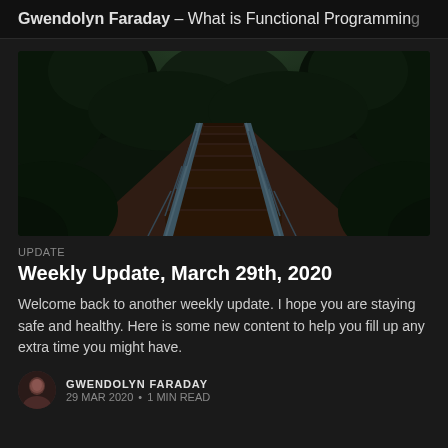Gwendolyn Faraday – What is Functional Programming
[Figure (photo): A wooden footbridge with metal railings leading into a dense green forest, photographed from a straight-on perspective showing depth.]
UPDATE
Weekly Update, March 29th, 2020
Welcome back to another weekly update. I hope you are staying safe and healthy. Here is some new content to help you fill up any extra time you might have.
GWENDOLYN FARADAY
29 MAR 2020 • 1 MIN READ